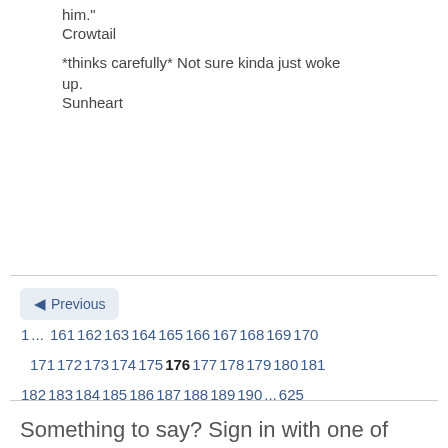him."
Crowtail
*thinks carefully* Not sure kinda just woke up.
Sunheart
Previous  1 ... 161 162 163 164 165 166 167 168 169 170 171 172 173 174 175 176 177 178 179 180 181 182 183 184 185 186 187 188 189 190 ... 625
Something to say? Sign in with one of these options:
Log in to Fanpop!
Not yet registered? Create a new Fanpop account!
[Figure (other): Connect with Facebook button image placeholder]